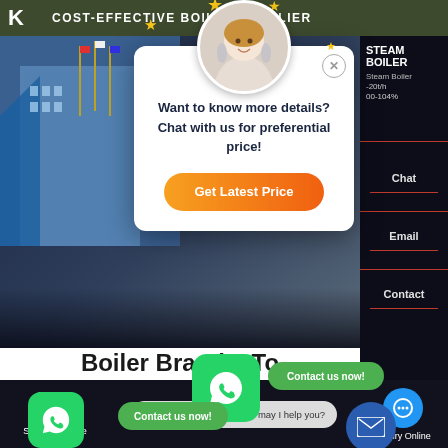COST-EFFECTIVE BOILER SUPPLIER
[Figure (screenshot): Website screenshot showing a boiler supplier page with hero image of building with flags, a chat popup modal with agent photo, stars, text 'Want to know more details? Chat with us for preferential price!' and orange 'Get Latest Price' button. Right sidebar shows Steam Boiler info with Chat, Email, Contact options. Bottom shows boiler brand heading partially visible reading 'Boiler Brand 8 To... Estonia' with WhatsApp contact buttons and 'Contact us now!' green buttons. Bottom bar shows Send Message, live chat bubble, and Inquiry Online.]